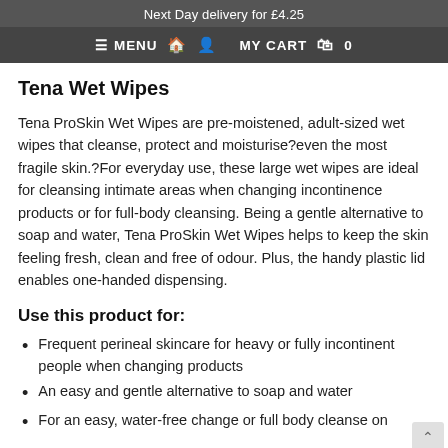Next Day delivery for £4.25
≡ MENU  🏠  👤  MY CART  🛍  0
Tena Wet Wipes
Tena ProSkin Wet Wipes are pre-moistened, adult-sized wet wipes that cleanse, protect and moisturise?even the most fragile skin.?For everyday use, these large wet wipes are ideal for cleansing intimate areas when changing incontinence products or for full-body cleansing. Being a gentle alternative to soap and water, Tena ProSkin Wet Wipes helps to keep the skin feeling fresh, clean and free of odour. Plus, the handy plastic lid enables one-handed dispensing.
Use this product for:
Frequent perineal skincare for heavy or fully incontinent people when changing products
An easy and gentle alternative to soap and water
For an easy, water-free change or full body cleanse on a bed